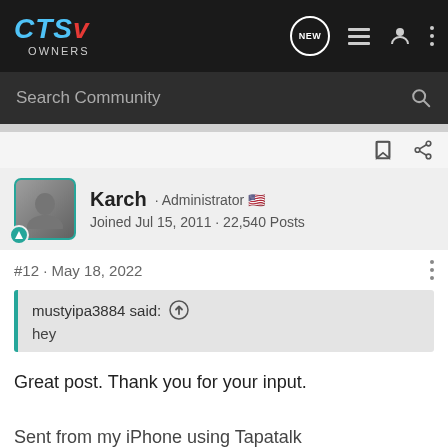CTS-V OWNERS — navigation header with logo, NEW, list, user, and menu icons
Search Community
Karch · Administrator  Joined Jul 15, 2011 · 22,540 Posts
#12 · May 18, 2022
mustyipa3884 said: hey
Great post. Thank you for your input.
Sent from my iPhone using Tapatalk